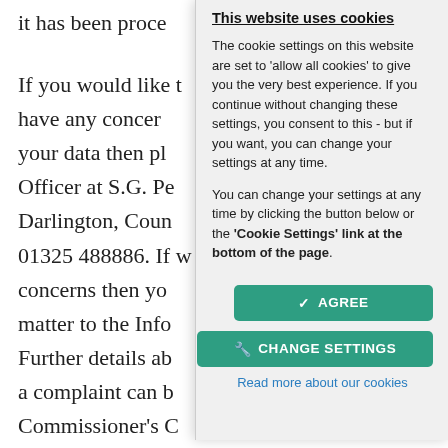it has been proce
If you would like t have any concer your data then p Officer at S.G. Pe Darlington, Coun 01325 488886. If w concerns then yo matter to the Inf Further details ab a complaint can b Commissioner's C (www.ico.org.uk/for-the-public/).
[Figure (screenshot): Cookie consent dialog overlay with title 'This website uses cookies', explanatory text about cookie settings, AGREE and CHANGE SETTINGS buttons, and a 'Read more about our cookies' link.]